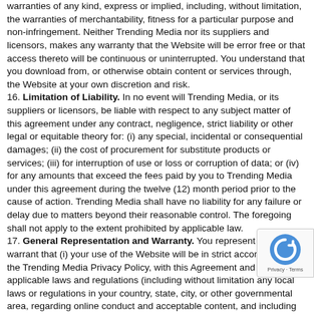warranties of any kind, express or implied, including, without limitation, the warranties of merchantability, fitness for a particular purpose and non-infringement. Neither Trending Media nor its suppliers and licensors, makes any warranty that the Website will be error free or that access thereto will be continuous or uninterrupted. You understand that you download from, or otherwise obtain content or services through, the Website at your own discretion and risk.
16. Limitation of Liability. In no event will Trending Media, or its suppliers or licensors, be liable with respect to any subject matter of this agreement under any contract, negligence, strict liability or other legal or equitable theory for: (i) any special, incidental or consequential damages; (ii) the cost of procurement for substitute products or services; (iii) for interruption of use or loss or corruption of data; or (iv) for any amounts that exceed the fees paid by you to Trending Media under this agreement during the twelve (12) month period prior to the cause of action. Trending Media shall have no liability for any failure or delay due to matters beyond their reasonable control. The foregoing shall not apply to the extent prohibited by applicable law.
17. General Representation and Warranty. You represent and warrant that (i) your use of the Website will be in strict accordance with the Trending Media Privacy Policy, with this Agreement and with all applicable laws and regulations (including without limitation any local laws or regulations in your country, state, city, or other governmental area, regarding online conduct and acceptable content, and including all applicable laws regarding the transmission of technical data exported from the United States or the country in which you reside) and (ii) your use of the Website will not infringe or misappropriate the intellectual property rights of any third party.
18. Indemnification. You agree to indemnify and hold harmless Trending Media, its contractors, and its licensors, and their